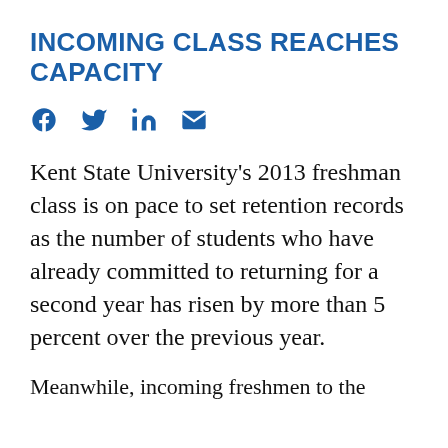INCOMING CLASS REACHES CAPACITY
[Figure (infographic): Social sharing icons: Facebook, Twitter, LinkedIn, Email]
Kent State University’s 2013 freshman class is on pace to set retention records as the number of students who have already committed to returning for a second year has risen by more than 5 percent over the previous year.
Meanwhile, incoming freshmen to the